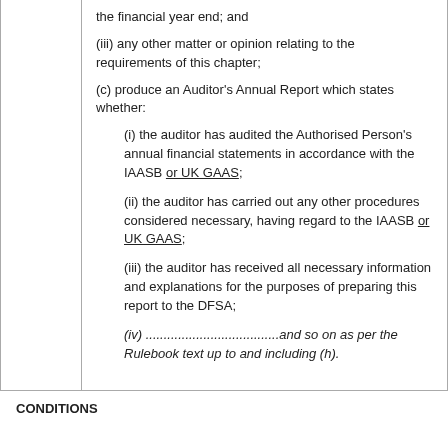the financial year end; and
(iii) any other matter or opinion relating to the requirements of this chapter;
(c) produce an Auditor's Annual Report which states whether:
(i) the auditor has audited the Authorised Person's annual financial statements in accordance with the IAASB or UK GAAS;
(ii) the auditor has carried out any other procedures considered necessary, having regard to the IAASB or UK GAAS;
(iii) the auditor has received all necessary information and explanations for the purposes of preparing this report to the DFSA;
(iv) ....................................and so on as per the Rulebook text up to and including (h).
CONDITIONS